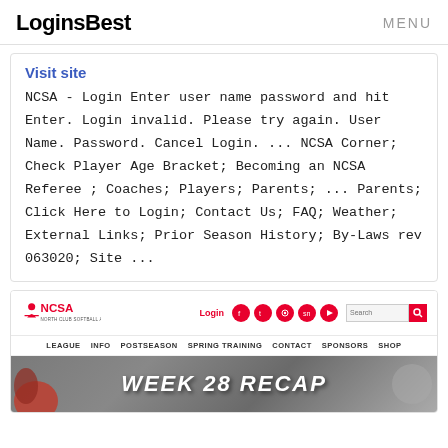LoginsBest  MENU
Visit site
NCSA - Login Enter user name password and hit Enter. Login invalid. Please try again. User Name. Password. Cancel Login. ... NCSA Corner; Check Player Age Bracket; Becoming an NCSA Referee ; Coaches; Players; Parents; ... Parents; Click Here to Login; Contact Us; FAQ; Weather; External Links; Prior Season History; By-Laws rev 063020; Site ...
[Figure (screenshot): NCSA website screenshot showing logo, navigation bar with Login, social media icons, search bar, menu items (LEAGUE, INFO, POSTSEASON, SPRING TRAINING, CONTACT, SPONSORS, SHOP), and a banner reading WEEK 28 RECAP]